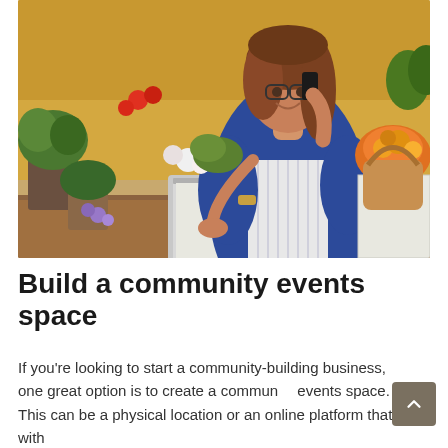[Figure (photo): A woman with glasses and long brown hair, wearing a blue cardigan over a striped apron, smiling while talking on a mobile phone and using a laptop. She is standing in a flower shop or garden store surrounded by colorful potted plants, flowers, and a wicker basket with flowers on a white table.]
Build a community events space
If you're looking to start a community-building business, one great option is to create a community events space. This can be a physical location or an online platform that with...